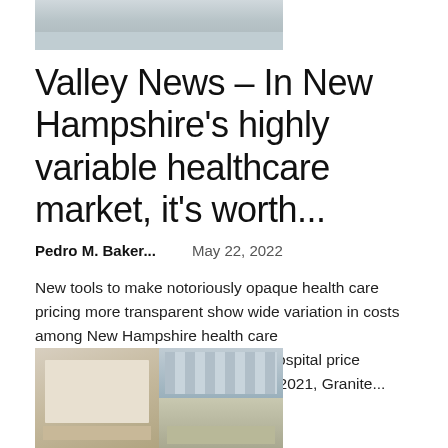[Figure (photo): Partial view of a building exterior, likely a school or hospital facility]
Valley News – In New Hampshire's highly variable healthcare market, it's worth...
Pedro M. Baker...    May 22, 2022
New tools to make notoriously opaque health care pricing more transparent show wide variation in costs among New Hampshire health care organizations.Thanks to a federal hospital price transparency law that took effect in 2021, Granite...
[Figure (photo): Composite of two images: left shows a cafeteria or classroom with chairs and tables; top right shows exterior of a modern building; bottom right shows people gathered outside a building]